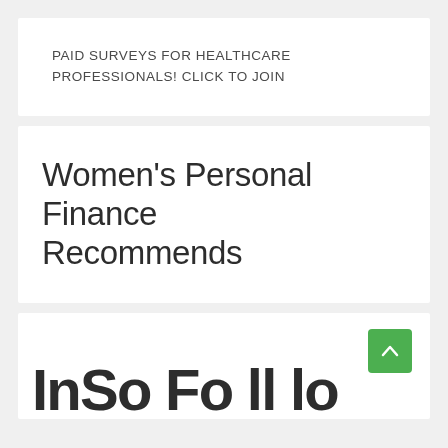PAID SURVEYS FOR HEALTHCARE PROFESSIONALS! CLICK TO JOIN
Women's Personal Finance Recommends
[Figure (other): Scroll-to-top button (green square with upward chevron arrow) and partially visible large bold decorative text at the bottom of the page]